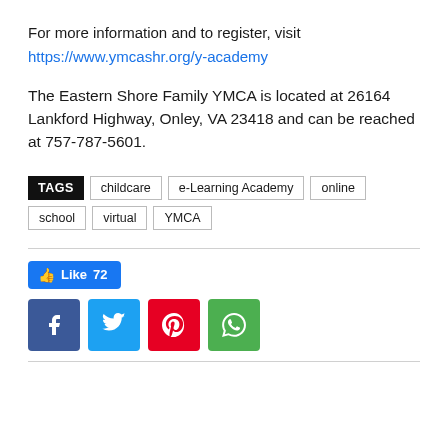For more information and to register, visit
https://www.ymcashr.org/y-academy
The Eastern Shore Family YMCA is located at 26164 Lankford Highway, Onley, VA 23418 and can be reached at 757-787-5601.
TAGS  childcare  e-Learning Academy  online  school  virtual  YMCA
[Figure (other): Facebook Like button showing 72 likes, and social share buttons for Facebook, Twitter, Pinterest, and WhatsApp]